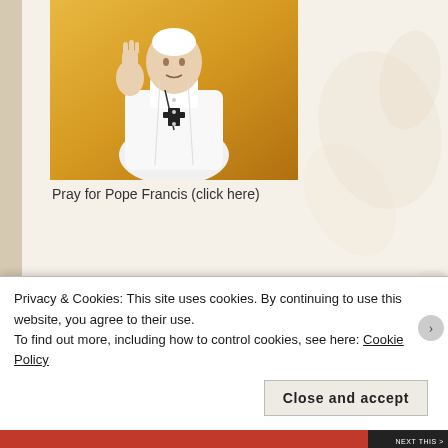[Figure (photo): Photo of Pope Francis in white vestments, raising his right hand in a wave or greeting gesture, wearing a pectoral cross on a chain. The background shows a warm golden/orange setting.]
Pray for Pope Francis (click here)
INTENTIONS OF THE CHURCH FOR JUNE 2022
For a Christian families
We pray for Christian families around the world; may they
Privacy & Cookies: This site uses cookies. By continuing to use this website, you agree to their use.
To find out more, including how to control cookies, see here: Cookie Policy
Close and accept